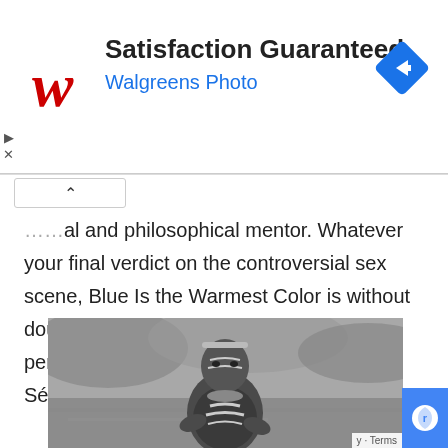[Figure (advertisement): Walgreens Photo advertisement banner with Walgreens red W logo, text 'Satisfaction Guaranteed' and 'Walgreens Photo' in blue, and a blue diamond-shaped arrow icon on the right]
...ual and philosophical mentor. Whatever your final verdict on the controversial sex scene, Blue Is the Warmest Color is without doubt an outstanding film as are the performances from Exarchopoulos and Séydoux.
[Figure (photo): Black and white photograph of an indigenous man with face paint and body paint, wearing traditional neck ornaments, standing in front of a blurred water/forest background]